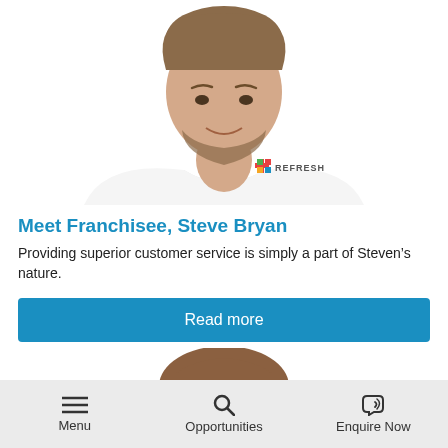[Figure (photo): Photo of Steve Bryan, a man with a beard wearing a white polo shirt with a Refresh logo, smiling, upper body visible against white background]
Meet Franchisee, Steve Bryan
Providing superior customer service is simply a part of Steven's nature.
Read more
[Figure (photo): Partial photo of another person, only the top of the head visible, cropped at bottom of frame]
Menu  Opportunities  Enquire Now